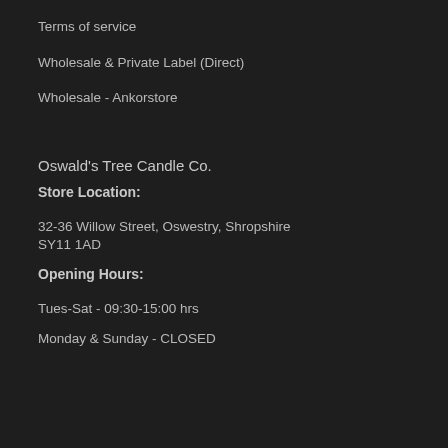Terms of service
Wholesale & Private Label (Direct)
Wholesale - Ankorstore
Oswald's Tree Candle Co.
Store Location:
32-36 Willow Street, Oswestry, Shropshire SY11 1AD
Opening Hours:
Tues-Sat - 09:30-15:00 hrs
Monday & Sunday - CLOSED